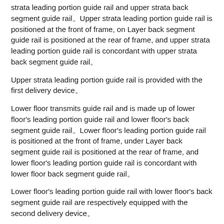strata leading portion guide rail and upper strata back segment guide rail。Upper strata leading portion guide rail is positioned at the front of frame, on Layer back segment guide rail is positioned at the rear of frame, and upper strata leading portion guide rail is concordant with upper strata back segment guide rail。
Upper strata leading portion guide rail is provided with the first delivery device。
Lower floor transmits guide rail and is made up of lower floor's leading portion guide rail and lower floor's back segment guide rail。Lower floor's leading portion guide rail is positioned at the front of frame, under Layer back segment guide rail is positioned at the rear of frame, and lower floor's leading portion guide rail is concordant with lower floor back segment guide rail。
Lower floor's leading portion guide rail with lower floor's back segment guide rail are respectively equipped with the second delivery device。
Jolting mechanism and pattern drawing mechanism are respectively positioned on the inner side of frame。Wherein, jolting mechanism includes workbench and squeezing cylinder。Pattern drawing machine Structure has included mould oil cylinder and